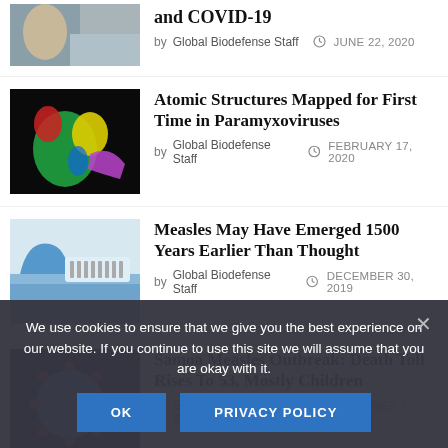[Figure (photo): Partial top image showing people, likely related to COVID-19 article]
and COVID-19
by Global Biodefense Staff  JUNE 22, 2020
[Figure (photo): Colorful 3D rendering of a protein or molecular structure in green, yellow, red, and purple on black background]
Atomic Structures Mapped for First Time in Paramyxoviruses
by Global Biodefense Staff  FEBRUARY 17, 2020
[Figure (photo): Blue gloved hand with laboratory test strips or PCR strips on a blue surface]
Measles May Have Emerged 1500 Years Earlier Than Thought
by Global Biodefense Staff  DECEMBER 30, 2019
[Figure (photo): Blue 3D rendered virus particle with red spikes on dark blue background]
Samoa Measles Outbreak: Death Toll Rises To 53, Mostly Children
by Global Biodefense Staff  DECEMBER 2, 2019
We use cookies to ensure that we give you the best experience on our website. If you continue to use this site we will assume that you are okay with it.
OK    PRIVACY POLICY